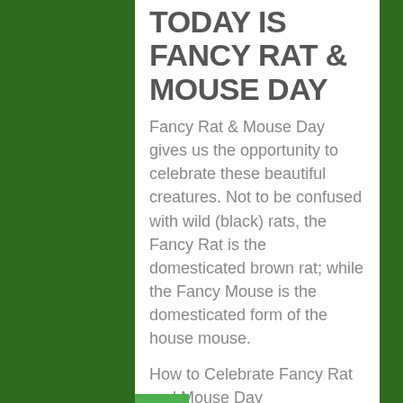TODAY IS FANCY RAT & MOUSE DAY
Fancy Rat & Mouse Day gives us the opportunity to celebrate these beautiful creatures. Not to be confused with wild (black) rats, the Fancy Rat is the domesticated brown rat; while the Fancy Mouse is the domesticated form of the house mouse.
How to Celebrate Fancy Rat and Mouse Day
How about a movie night in? Choose from An American Tale, Ratatouille, or some classic Mickey Mouse. Just don't forget the cheese to nibble on!